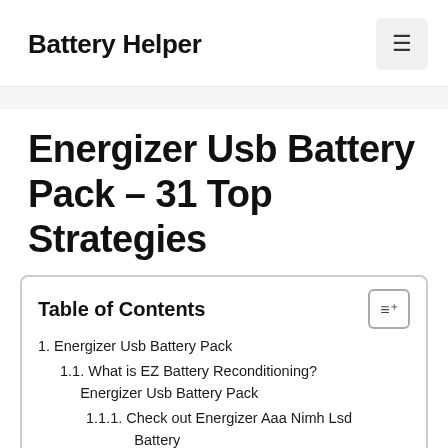Battery Helper
Energizer Usb Battery Pack – 31 Top Strategies
Table of Contents
1. Energizer Usb Battery Pack
1.1. What is EZ Battery Reconditioning? Energizer Usb Battery Pack
1.1.1. Check out Energizer Aaa Nimh Lsd Battery
1.2. Does EZ Battery Reconditioning Work?